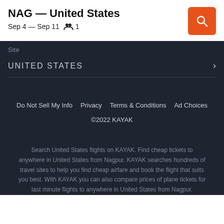NAG — United States
Sep 4 — Sep 11    1
Site
UNITED STATES
Do Not Sell My Info   Privacy   Terms & Conditions   Ad Choices
©2022 KAYAK
Search United States flights on KAYAK. Find cheap tickets to anywhere in United States from Nagpur. KAYAK searches hundreds of travel sites to help you find cheap airfare and book the flight that suits you best. With KAYAK you can also compare prices of plane tickets for last minute flights to anywhere in United States from Nagpur.